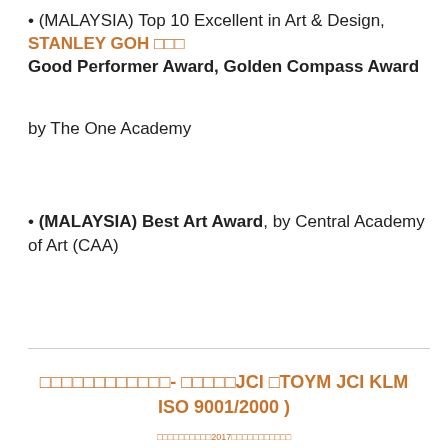• (MALAYSIA) Top 10 Excellent in Art & Design, STANLEY GOH 吴□□ Good Performer Award, Golden Compass Award
by The One Academy
• (MALAYSIA) Best Art Award, by Central Academy of Art (CAA)
□□□□□□□□□□□□- □□□□□JCI □TOYM JCI KLM ISO 9001/2000 )
□□□□□□□□□□2017□□□□□□□□□□□